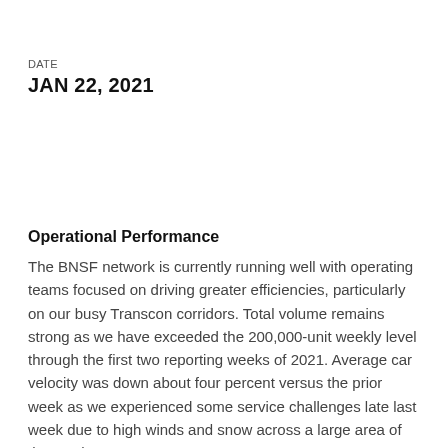DATE
JAN 22, 2021
Operational Performance
The BNSF network is currently running well with operating teams focused on driving greater efficiencies, particularly on our busy Transcon corridors. Total volume remains strong as we have exceeded the 200,000-unit weekly level through the first two reporting weeks of 2021. Average car velocity was down about four percent versus the prior week as we experienced some service challenges late last week due to high winds and snow across a large area of the North.